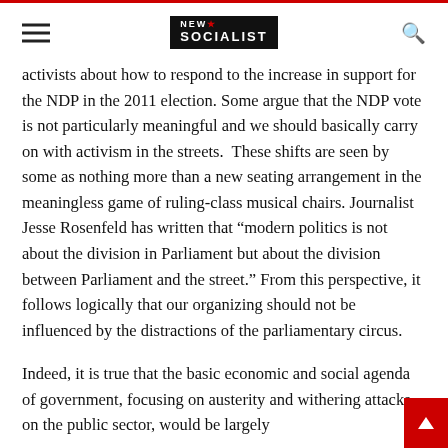new socialist
activists about how to respond to the increase in support for the NDP in the 2011 election. Some argue that the NDP vote is not particularly meaningful and we should basically carry on with activism in the streets.  These shifts are seen by some as nothing more than a new seating arrangement in the meaningless game of ruling-class musical chairs. Journalist Jesse Rosenfeld has written that “modern politics is not about the division in Parliament but about the division between Parliament and the street.” From this perspective, it follows logically that our organizing should not be influenced by the distractions of the parliamentary circus.
Indeed, it is true that the basic economic and social agenda of government, focusing on austerity and withering attacks on the public sector, would be largely